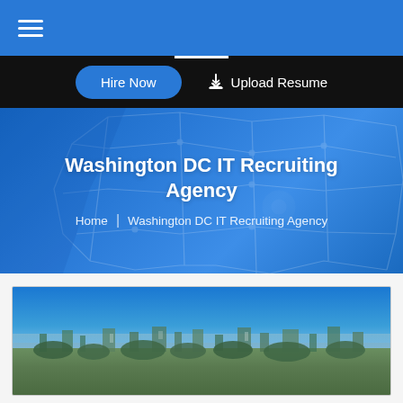Navigation bar with hamburger menu
Hire Now | Upload Resume
Washington DC IT Recruiting Agency
Home | Washington DC IT Recruiting Agency
[Figure (photo): Aerial photograph of Washington DC cityscape with blue sky]